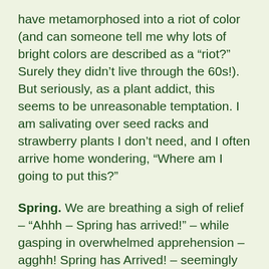have metamorphosed into a riot of color (and can someone tell me why lots of bright colors are described as a “riot?” Surely they didn’t live through the 60s!). But seriously, as a plant addict, this seems to be unreasonable temptation. I am salivating over seed racks and strawberry plants I don’t need, and I often arrive home wondering, “Where am I going to put this?”
Spring. We are breathing a sigh of relief – “Ahhh – Spring has arrived!” – while gasping in overwhelmed apprehension – agghh! Spring has Arrived! – seemingly overnight. Just as we’ve finished up with pruning chores (we hope!), we are already behind in starting starts, planting plants, prepping pots, building beds, digging up grass before it